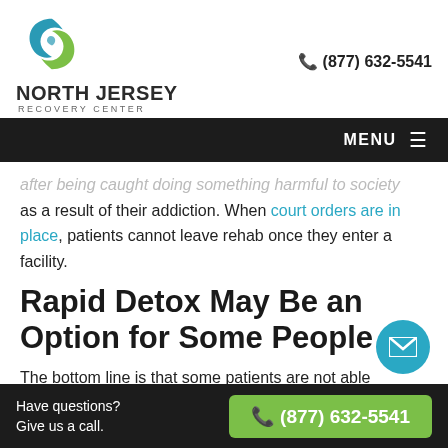[Figure (logo): North Jersey Recovery Center circular logo with teal and green swirl design]
(877) 632-5541
NORTH JERSEY RECOVERY CENTER
MENU
after being caught doing something harmful to society as a result of their addiction. When court orders are in place, patients cannot leave rehab once they enter a facility.
Rapid Detox May Be an Option for Some People
The bottom line is that some patients are not able got through detox. After several attempts at getting
Have questions? Give us a call.  (877) 632-5541